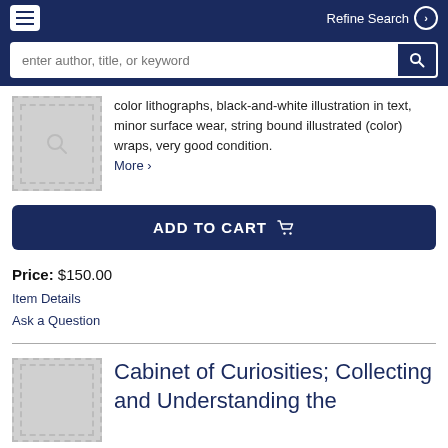Refine Search
color lithographs, black-and-white illustration in text, minor surface wear, string bound illustrated (color) wraps, very good condition. More >
ADD TO CART
Price: $150.00
Item Details
Ask a Question
Cabinet of Curiosities; Collecting and Understanding the